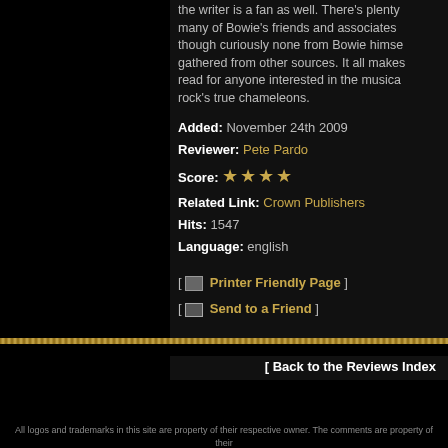the writer is a fan as well. There's plenty of many of Bowie's friends and associates though curiously none from Bowie himse gathered from other sources. It all makes read for anyone interested in the musica rock's true chameleons.
Added: November 24th 2009
Reviewer: Pete Pardo
Score: ★★★★
Related Link: Crown Publishers
Hits: 1547
Language: english
[ 🖨 Printer Friendly Page ]
[ ✉ Send to a Friend ]
[ Back to the Reviews Index
For information regarding where to send CD promos and advertising, please see our FAQ page. If you have questions or comments, please Contact Us. Please see our Policies Page for Site Usage, Privacy, and Copyright Policies.
All logos and trademarks in this site are property of their respective owner. The comments are property of their posters, all other content ◆ Sea of Tranquility